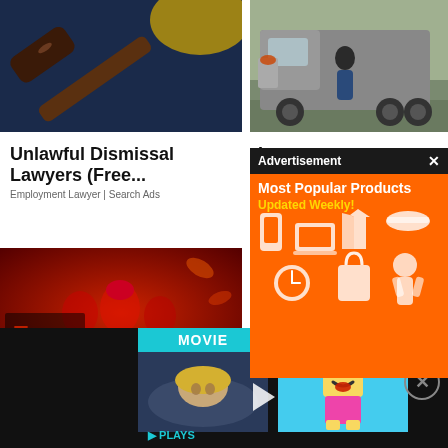[Figure (photo): Close-up of a wooden judge's gavel with yellow hard hat blurred in background]
[Figure (photo): Man in baseball cap standing in front of a large semi truck outdoors]
Unlawful Dismissal Lawyers (Free...
Employment Lawyer | Search Ads
L
C
[Figure (photo): Persona 5 Royal video game artwork showing anime characters on red background with '5 ROYAL' logo]
[Figure (photo): Advertisement overlay showing most popular products on orange background with white product icons]
[Figure (photo): Bottom video bar with MOVIE and GAME labels in teal, movie thumbnail and LEGO game thumbnail with play arrow and PLAYS text]